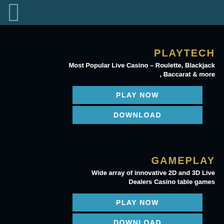PLAYTECH
Most Popular Live Casino – Roulette, Blackjack , Baccarat & more
PLAY NOW
DOWNLOAD
GAMEPLAY
Wide array of innovative 2D and 3D Live Dealers Casino table games
PLAY NOW
DOWNLOAD